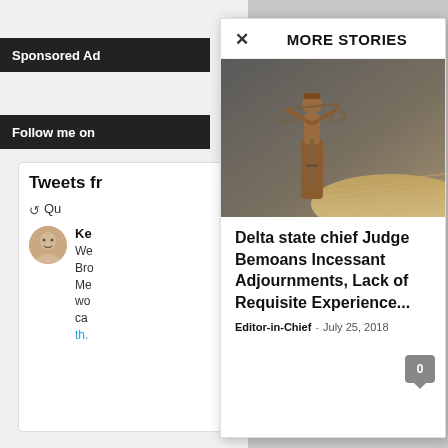Sponsored Ad
Follow me on
Tweets fr
Qu
Ke
We
Bro
Me
wo
ca
th.
MORE STORIES
[Figure (photo): Bronze Lady Justice statue holding scales of justice, with an open book in the background]
Delta state chief Judge Bemoans Incessant Adjournments, Lack of Requisite Experience...
Editor-in-Chief  -  July 25, 2018